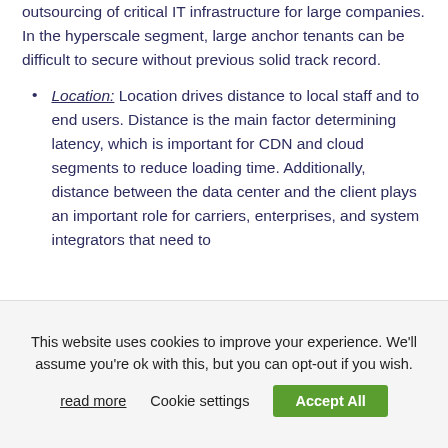outsourcing of critical IT infrastructure for large companies. In the hyperscale segment, large anchor tenants can be difficult to secure without previous solid track record.
Location: Location drives distance to local staff and to end users. Distance is the main factor determining latency, which is important for CDN and cloud segments to reduce loading time. Additionally, distance between the data center and the client plays an important role for carriers, enterprises, and system integrators that need to
This website uses cookies to improve your experience. We'll assume you're ok with this, but you can opt-out if you wish.